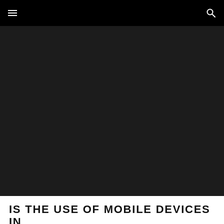☰  🔍
[Figure (photo): Dark hero image area, nearly black, representing a mobile device usage scene]
IS THE USE OF MOBILE DEVICES IN